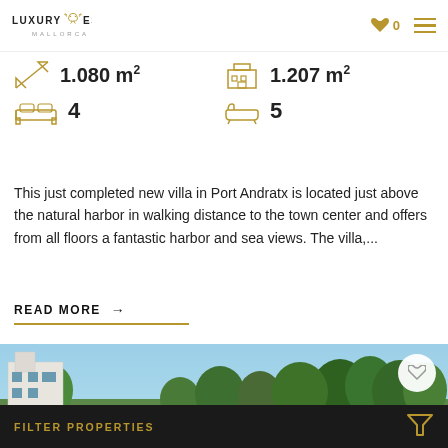LUXURY ESTATES MALLORCA
1.080 m²   1.207 m²   4 bedrooms   5 bathrooms
This just completed new villa in Port Andratx is located just above the natural harbor in walking distance to the town center and offers from all floors a fantastic harbor and sea views. The villa,...
READ MORE →
[Figure (photo): Exterior photo of a white villa with blue sky, green trees and rooftops visible]
FILTER PROPERTIES